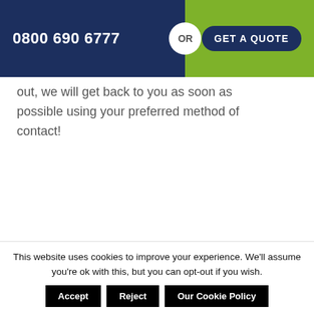0800 690 6777 OR GET A QUOTE
out, we will get back to you as soon as possible using your preferred method of contact!
NO CALL OUT FEES – CALL NOW
08006906777
This website uses cookies to improve your experience. We'll assume you're ok with this, but you can opt-out if you wish.
Accept | Reject | Our Cookie Policy